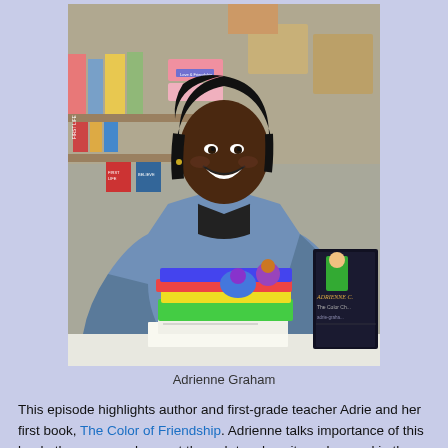[Figure (photo): Photo of Adrienne Graham, a woman in a denim jacket, smiling and signing books at a table. Colorful children's books are stacked in front of her, and a dark book cover reading 'ADRIENNE C. - The Color Ch- adrie-graha-' is visible to her right. Shelves with books and boxes are in the background.]
Adrienne Graham
This episode highlights author and first-grade teacher Adrie and her first book, The Color of Friendship. Adrienne talks importance of this book, the process she went through to p how it can be used in the classroom. We are happy and pr